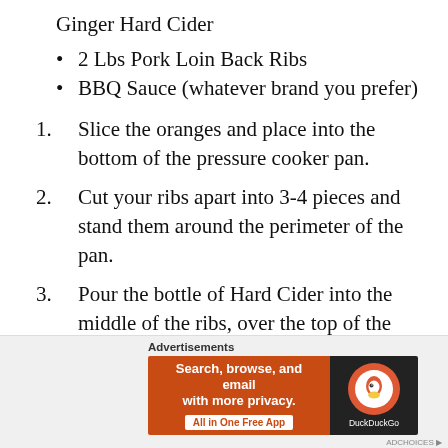Ginger Hard Cider
2 Lbs Pork Loin Back Ribs
BBQ Sauce (whatever brand you prefer)
1. Slice the oranges and place into the bottom of the pressure cooker pan.
2. Cut your ribs apart into 3-4 pieces and stand them around the perimeter of the pan.
3. Pour the bottle of Hard Cider into the middle of the ribs, over the top of the oranges.
[Figure (infographic): DuckDuckGo advertisement banner: orange background with text 'Search, browse, and email with more privacy. All in One Free App' and DuckDuckGo logo on dark background. Above: 'Advertisements' label.]